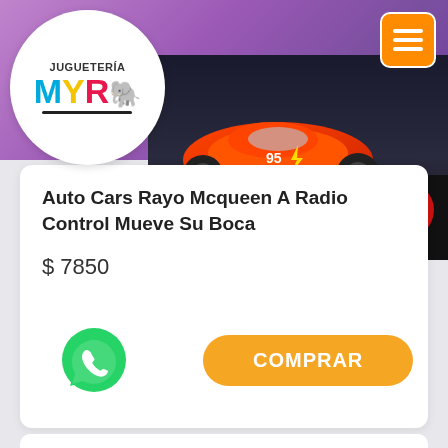[Figure (logo): Juguetería MYR logo in a white circle — 'JUGUETERÍA' text above stylized colorful letters M Y R with elephant icon, black underline]
[Figure (photo): Product photo of Lightning McQueen radio-controlled car toy box with red car on dark background]
Auto Cars Rayo Mcqueen A Radio Control Mueve Su Boca
$ 7850
[Figure (illustration): Green WhatsApp icon button]
COMPRAR